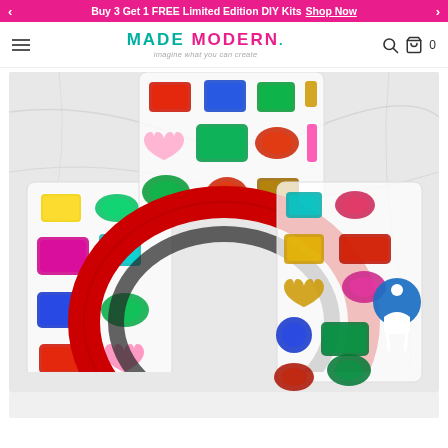Buy 3 Get 1 FREE Limited Edition DIY Kits Shop Now
[Figure (logo): Made Modern logo with tagline 'imagine what you can create']
[Figure (photo): Product photo showing a red satin headband surrounded by colorful gemstones/rhinestones in various shapes (rectangular, heart, oval, square) in red, blue, green, yellow, purple, and pink, arranged on a white marble surface. Three trays of gems are visible around the headband. A person/accessibility icon is visible in the bottom right of the image.]